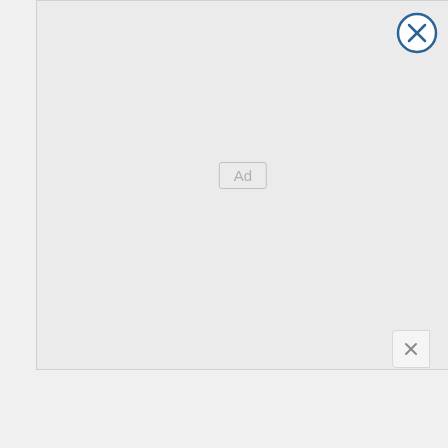[Figure (other): Grey ad placeholder area with 'Ad' label box centered and a circular close (X) button in the top right corner]
[Figure (other): Firestone Tires advertisement strip: Tire Auto logo on left, text 'Get Up To $110 Off a Set of 4 Select Firestone Tires', blue diamond arrow icon on right]
[Figure (other): Kitchen remodel ad: kitchen photo on left, title 'Kitchen Remodel Trends Coming In 2022', subtitle 'Kitchen Remodeling | Sponsored', close X button on right]